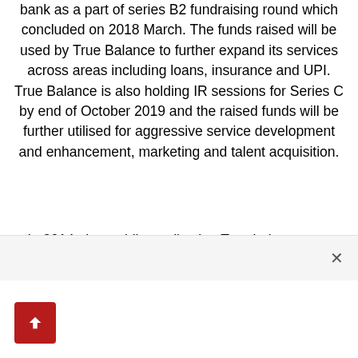bank as a part of series B2 fundraising round which concluded on 2018 March. The funds raised will be used by True Balance to further expand its services across areas including loans, insurance and UPI. True Balance is also holding IR sessions for Series C by end of October 2019 and the raised funds will be further utilised for aggressive service development and enhancement, marketing and talent acquisition.
In 2014, the mobile application True balance was launched by Mr. Cheolwon Lee (Charlie Lee